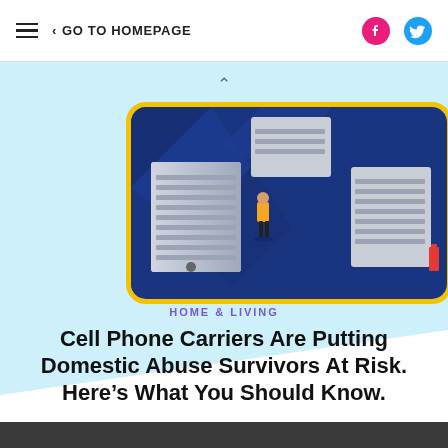GO TO HOMEPAGE
[Figure (illustration): Illustration of a smartphone screen showing a person in a yellow jacket standing among large server/data blocks on a blue geometric background with yellow border]
HOME & LIVING
Cell Phone Carriers Are Putting Domestic Abuse Survivors At Risk. Here’s What You Should Know.